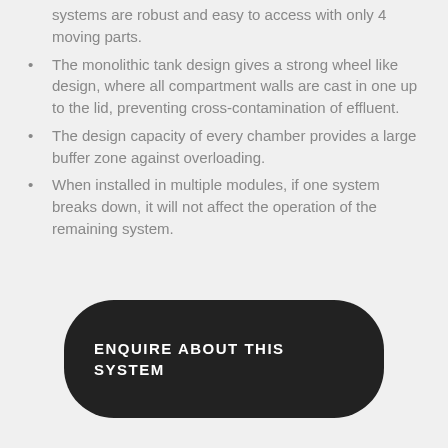systems are robust and easy to access with only 4 moving parts.
The monolithic tank design gives a strong wheel like design, where all compartment walls are cast in one up to the lid, preventing cross-contamination of effluent.
The design capacity of every chamber provides a large buffer zone against overloading.
When installed in multiple modules, if one system breaks down, it will not affect the operation of the remaining system.
ENQUIRE ABOUT THIS SYSTEM